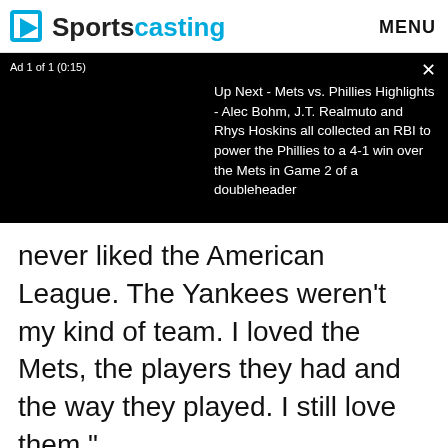Sportscasting  MENU
[Figure (screenshot): Video ad overlay showing 'Ad 1 of 1 (0:15)' label, close button (×), black video frame on left, and text on right: 'Up Next - Mets vs. Phillies Highlights - Alec Bohm, J.T. Realmuto and Rhys Hoskins all collected an RBI to power the Phillies to a 4-1 win over the Mets in Game 2 of a doubleheader']
never liked the American League. The Yankees weren't my kind of team. I loved the Mets, the players they had and the way they played. I still love them."
ADVERTISEMENT
[Figure (illustration): Pink/red gradient advertisement banner with bold white text 'Earn money by sharing' and a gold coin with dollar sign on the right side]